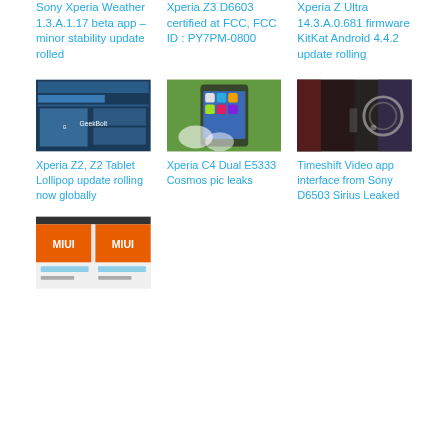Sony Xperia Weather 1.3.A.1.17 beta app – minor stability update rolled
Xperia Z3 D6603 certified at FCC, FCC ID : PY7PM-0800
Xperia Z Ultra 14.3.A.0.681 firmware KitKat Android 4.4.2 update rolling
[Figure (screenshot): Screenshot of Xperia Z2 page on GeekBolt website showing device images]
Xperia Z2, Z2 Tablet Lollipop update rolling now globally
[Figure (photo): Photo of Xperia C4 Dual E5333 Cosmos smartphone showing home screen with apps]
Xperia C4 Dual E5333 Cosmos pic leaks
[Figure (photo): Photo of Sony D6503 Sirius device showing Timeshift Video app interface in a dark room]
Timeshift Video app interface from Sony D6503 Sirius Leaked
[Figure (screenshot): Screenshot showing MIUI interface on a smartphone]